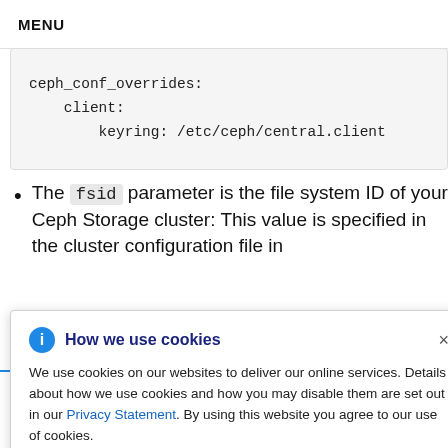MENU
ceph_conf_overrides:
    client:
        keyring: /etc/ceph/central.client
The fsid parameter is the file system ID of your Ceph Storage cluster: This value is specified in the cluster configuration file in
How we use cookies
We use cookies on our websites to deliver our online services. Details about how we use cookies and how you may disable them are set out in our Privacy Statement. By using this website you agree to our use of cookies.
-9747aa737
lient key
for the openstack account: